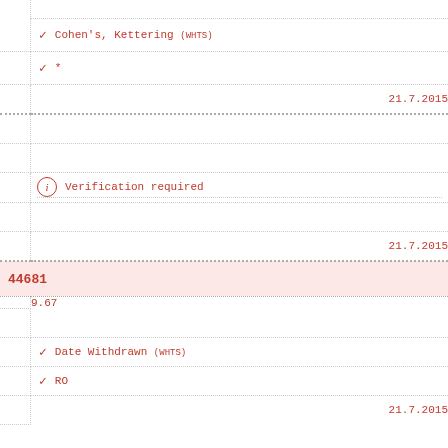✓ Cohen's, Kettering (WHTS)
✓ *
21.7.2015
Verification required
21.7.2015
44681
9.67
✓ Date Withdrawn (WHTS)
✓ RO
21.7.2015